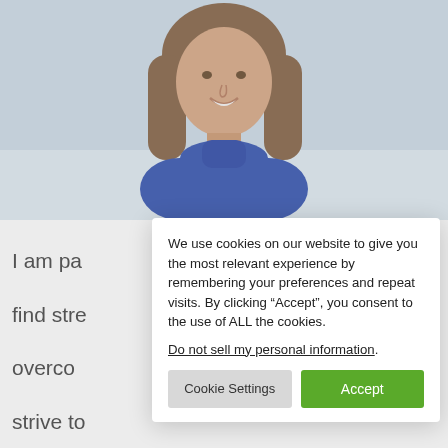[Figure (photo): Portrait photo of a middle-aged woman with shoulder-length brown hair wearing a blue turtleneck sweater, photographed outdoors in a snowy setting.]
I am pa
find stre
overco
strive to
establis
facilitat
environ
achieve
past fourteen years, I gained
We use cookies on our website to give you the most relevant experience by remembering your preferences and repeat visits. By clicking “Accept”, you consent to the use of ALL the cookies.
Do not sell my personal information.
Cookie Settings
Accept